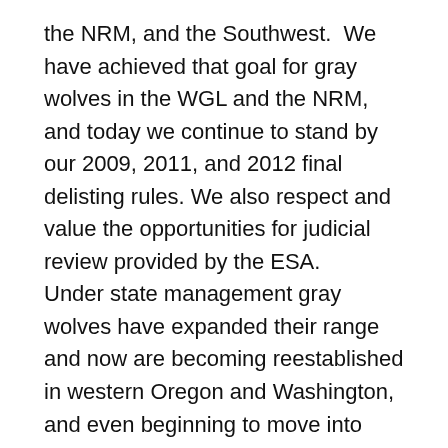the NRM, and the Southwest.  We have achieved that goal for gray wolves in the WGL and the NRM, and today we continue to stand by our 2009, 2011, and 2012 final delisting rules. We also respect and value the opportunities for judicial review provided by the ESA.
Under state management gray wolves have expanded their range and now are becoming reestablished in western Oregon and Washington, and even beginning to move into northern California.  Because the 1978 listing encompassed gray wolves in the lower 48 states and Mexico, those wolves in western Washington, western Oregon, and northern California, i.e., outside of the delisted NRM distinct population segment, remain fully